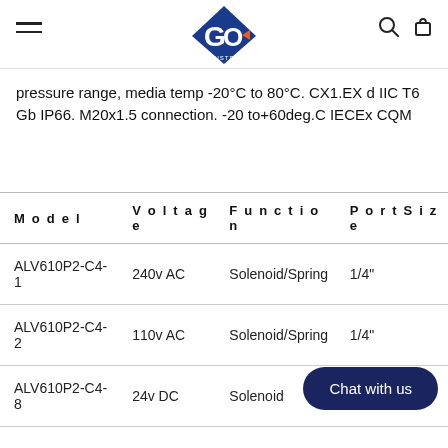GO Industrial
pressure range, media temp -20°C to 80°C. CX1.EX d IIC T6 Gb IP66. M20x1.5 connection. -20 to+60deg.C IECEx CQM
| Model | Voltage | Function | Port Size |
| --- | --- | --- | --- |
| ALV610P2-C4-1 | 240v AC | Solenoid/Spring | 1/4" |
| ALV610P2-C4-2 | 110v AC | Solenoid/Spring | 1/4" |
| ALV610P2-C4-8 | 24v DC | Solenoid… |  |